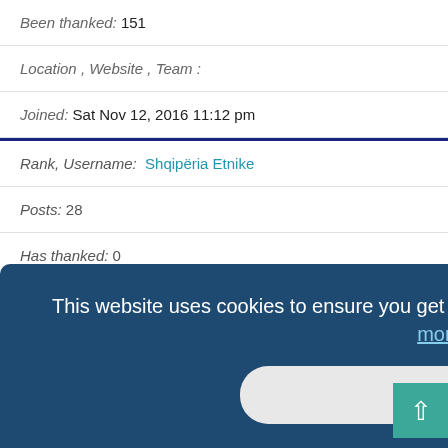Been thanked: 151
Location , Website , Team :
Joined: Sat Nov 12, 2016 11:12 pm
Rank, Username: Shqipëria Etnike
Posts: 28
Has thanked: 0
Been thanked: 1
This website uses cookies to ensure you get the best experience on our website. Learn more
Got it!